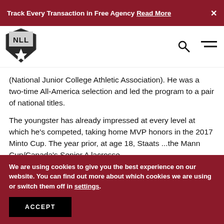Track Every Transaction in Free Agency Read More ×
[Figure (logo): NLL (National Lacrosse League) shield logo in black and grey with a white star/cross design]
(National Junior College Athletic Association). He was a two-time All-America selection and led the program to a pair of national titles.
The youngster has already impressed at every level at which he's competed, taking home MVP honors in the 2017 Minto Cup. The year prior, at age 18, Staats ...the Mann Cup/Canada's Senior A lacrosse...
We are using cookies to give you the best experience on our website. You can find out more about which cookies we are using or switch them off in settings.